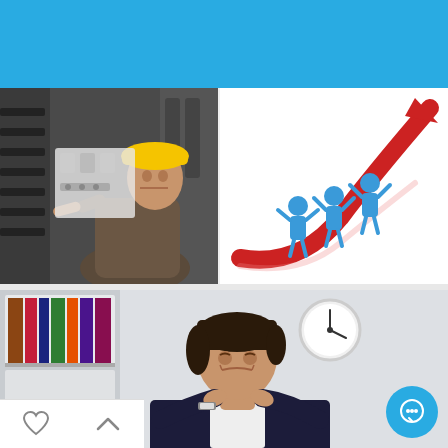[Figure (screenshot): Mobile image search interface showing a search bar with the query 'work', filter icon, 'All Images' dropdown, and orange search button on a blue background]
[Figure (photo): Worker in yellow hard hat working on industrial machinery]
[Figure (illustration): Three blue human figures standing on a red upward arrow representing teamwork and business growth]
[Figure (photo): Business woman in suit grimacing and holding her neck in pain, sitting at office desk with bookshelf and clock in background]